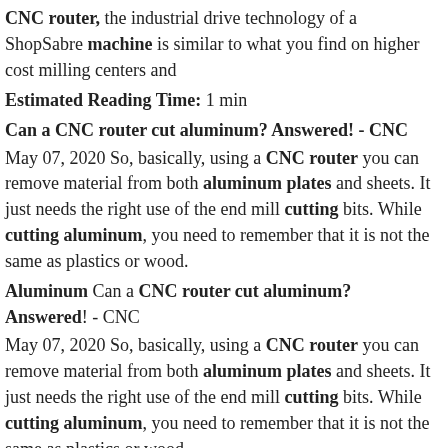CNC router, the industrial drive technology of a ShopSabre machine is similar to what you find on higher cost milling centers and
Estimated Reading Time: 1 min
Can a CNC router cut aluminum? Answered! - CNC
May 07, 2020 So, basically, using a CNC router you can remove material from both aluminum plates and sheets. It just needs the right use of the end mill cutting bits. While cutting aluminum, you need to remember that it is not the same as plastics or wood.
Aluminum Can a CNC router cut aluminum? Answered! - CNC
May 07, 2020 So, basically, using a CNC router you can remove material from both aluminum plates and sheets. It just needs the right use of the end mill cutting bits. While cutting aluminum, you need to remember that it is not the same as plastics or wood.
Aluminum Cnc Machine for Aluminum Plate 1300x2500mm Cnc Metal Cnc Machine for Aluminum Plate 1300x2500mm Cnc Metal Milling Machine. One wood box: 2/3 sets SESAME 1325. One container: 6 sets SESAME 1325. You are making a very smart